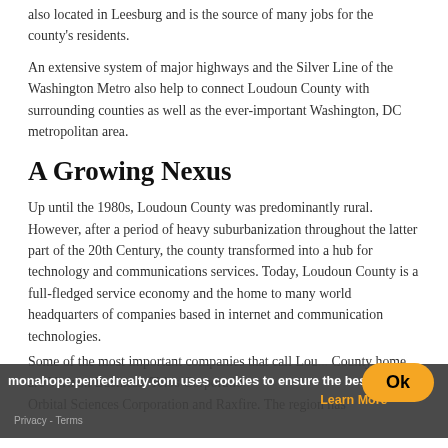also located in Leesburg and is the source of many jobs for the county's residents.
An extensive system of major highways and the Silver Line of the Washington Metro also help to connect Loudoun County with surrounding counties as well as the ever-important Washington, DC metropolitan area.
A Growing Nexus
Up until the 1980s, Loudoun County was predominantly rural. However, after a period of heavy suburbanization throughout the latter part of the 20th Century, the county transformed into a hub for technology and communications services. Today, Loudoun County is a full-fledged service economy and the home to many world headquarters of companies based in internet and communication technologies.
Some of the most important companies that call Loudoun County home are Verizon Business, Telos Corporation, Orbital Sciences Corporation and Raxfire. The region has
monahope.penfedrealty.com uses cookies to ensure the best experience on our website. Learn More Privacy - Terms